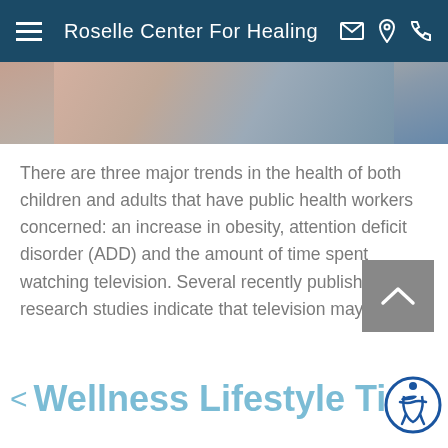Roselle Center For Healing
[Figure (photo): Partial photo of a person, cropped, showing upper body area]
There are three major trends in the health of both children and adults that have public health workers concerned: an increase in obesity, attention deficit disorder (ADD) and the amount of time spent watching television. Several recently published research studies indicate that television may be the
Read more
< Wellness Lifestyle Tips